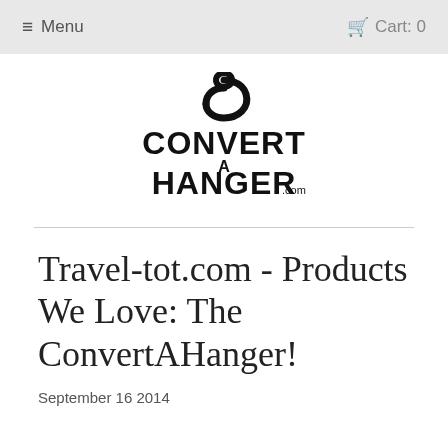≡ Menu   Cart: 0
[Figure (logo): ConvertAHanger.com logo with a hook above stylized text reading CONVERT A HANGER.com]
Travel-tot.com - Products We Love: The ConvertAHanger!
September 16 2014